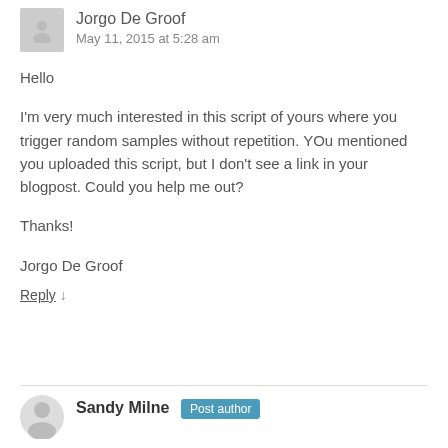Jorgo De Groof
May 11, 2015 at 5:28 am
Hello
I'm very much interested in this script of yours where you trigger random samples without repetition. YOu mentioned you uploaded this script, but I don't see a link in your blogpost. Could you help me out?
Thanks!
Jorgo De Groof
Reply ↓
Sandy Milne Post author